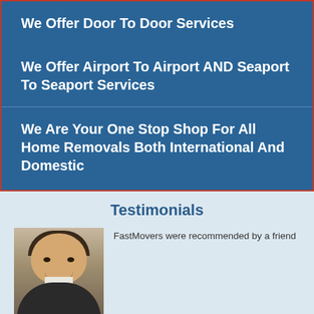We Offer Door To Door Services
We Offer Airport To Airport AND Seaport To Seaport Services
We Are Your One Stop Shop For All Home Removals Both International And Domestic
Testimonials
[Figure (photo): Photo of a smiling man in a dark blazer and white shirt]
FastMovers were recommended by a friend